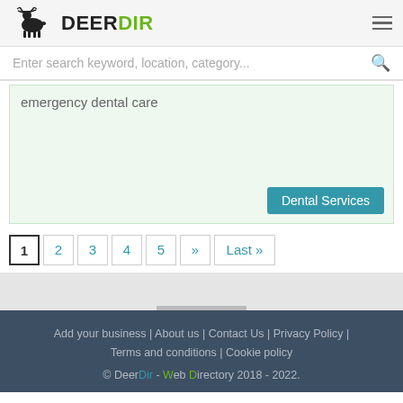DeerDir
Enter search keyword, location, category...
emergency dental care
Dental Services
1 2 3 4 5 » Last »
Add your business | About us | Contact Us | Privacy Policy | Terms and conditions | Cookie policy
© DeerDir - Web Directory 2018 - 2022.